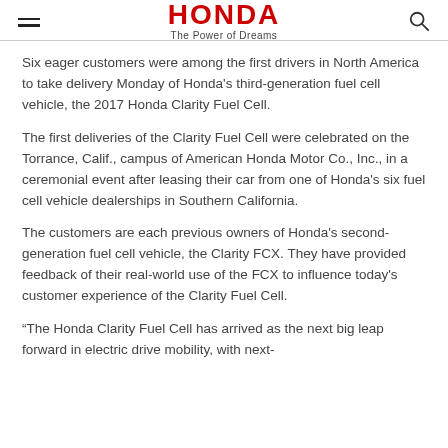HONDA — The Power of Dreams
Six eager customers were among the first drivers in North America to take delivery Monday of Honda's third-generation fuel cell vehicle, the 2017 Honda Clarity Fuel Cell.
The first deliveries of the Clarity Fuel Cell were celebrated on the Torrance, Calif., campus of American Honda Motor Co., Inc., in a ceremonial event after leasing their car from one of Honda's six fuel cell vehicle dealerships in Southern California.
The customers are each previous owners of Honda's second-generation fuel cell vehicle, the Clarity FCX. They have provided feedback of their real-world use of the FCX to influence today's customer experience of the Clarity Fuel Cell.
“The Honda Clarity Fuel Cell has arrived as the next big leap forward in electric drive mobility, with next-